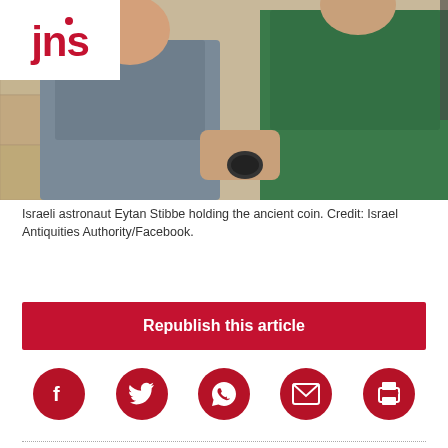jns
[Figure (photo): Two men, one in a grey shirt and one in a green polo shirt, examining a small object (ancient coin). Background shows stone artifacts.]
Israeli astronaut Eytan Stibbe holding the ancient coin. Credit: Israel Antiquities Authority/Facebook.
Republish this article
[Figure (infographic): Social sharing icons row: Facebook, Twitter, WhatsApp, Email, Print — all dark red circles with white icons]